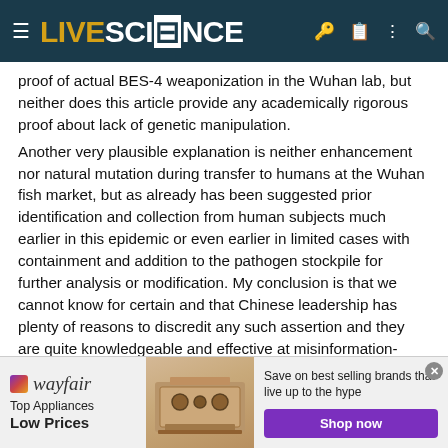LIVE SCIENCE
proof of actual BES-4 weaponization in the Wuhan lab, but neither does this article provide any academically rigorous proof about lack of genetic manipulation.
Another very plausible explanation is neither enhancement nor natural mutation during transfer to humans at the Wuhan fish market, but as already has been suggested prior identification and collection from human subjects much earlier in this epidemic or even earlier in limited cases with containment and addition to the pathogen stockpile for further analysis or modification. My conclusion is that we cannot know for certain and that Chinese leadership has plenty of reasons to discredit any such assertion and they are quite knowledgeable and effective at misinformation-disinformation campaigns to achieve that goal.
TripodX
[Figure (other): Wayfair advertisement banner showing Top Appliances Low Prices with a stove image and Shop now button]